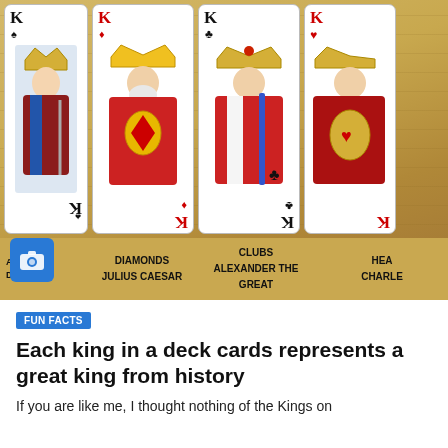[Figure (photo): Four king playing cards (Spades - David, Diamonds - Julius Caesar, Clubs - Alexander the Great, Hearts - Charlemagne) displayed side by side on a tan/gold background. A camera icon overlay appears on the left side.]
FUN FACTS
Each king in a deck cards represents a great king from history
If you are like me, I thought nothing of the Kings on playing cards but they do represent great kings from history.